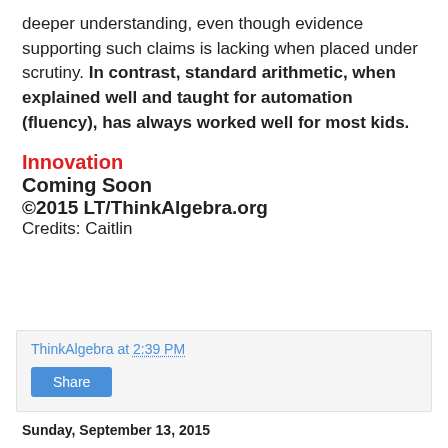deeper understanding, even though evidence supporting such claims is lacking when placed under scrutiny. In contrast, standard arithmetic, when explained well and taught for automation (fluency), has always worked well for most kids.
Innovation
Coming Soon
©2015 LT/ThinkAlgebra.org
Credits: Caitlin
ThinkAlgebra at 2:39 PM
Share
Sunday, September 13, 2015